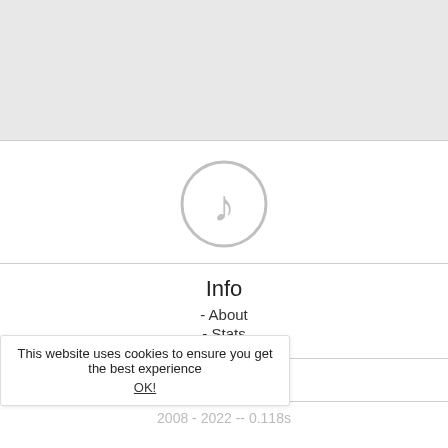[Figure (logo): Circular logo with a musical note or stylized P icon in grey outline]
Info
- About
- Stats
Support
- Contact Us
Developers
- API
- FMS Specification
Legal
- Terms
- Privacy
This website uses cookies to ensure you get the best experience OK!
2008 - 2022 -- 0.118s